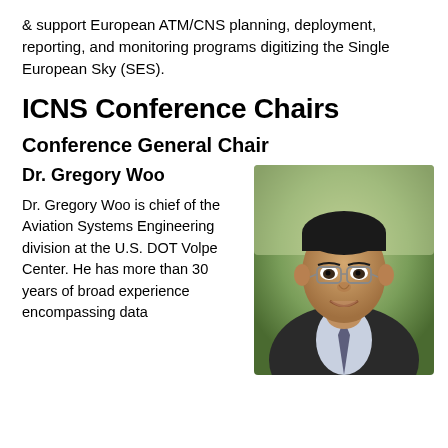& support European ATM/CNS planning, deployment, reporting, and monitoring programs digitizing the Single European Sky (SES).
ICNS Conference Chairs
Conference General Chair
Dr. Gregory Woo
[Figure (photo): Headshot photo of Dr. Gregory Woo, a man wearing glasses, a dark suit jacket, and a patterned tie, smiling against an outdoor background.]
Dr. Gregory Woo is chief of the Aviation Systems Engineering division at the U.S. DOT Volpe Center. He has more than 30 years of broad experience encompassing data